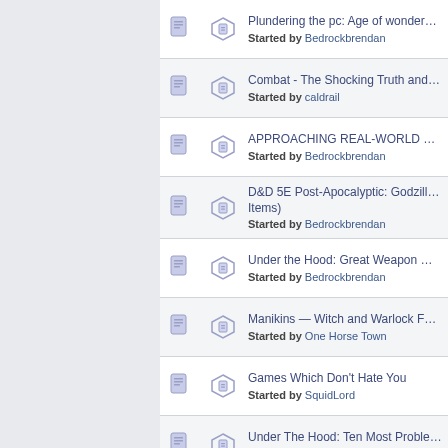Plundering the pc: Age of wonders iii — Started by Bedrockbrendan
Combat - The Shocking Truth and How To Deal With It — Started by caldrail
APPROACHING REAL-WORLD HISTORY IN RPGs — Started by Bedrockbrendan
D&D 5E Post-Apocalyptic: Godzilla (Monsters) and Ancient Items) — Started by Bedrockbrendan
Under the Hood: Great Weapon Master and Sharpshooter — Started by Bedrockbrendan
Manikins — Witch and Warlock Familiars for WFRP v2 — Started by One Horse Town
Games Which Don't Hate You — Started by SquidLord
Under The Hood: Ten Most Problematic Spells in D&D 5e — Started by Bedrockbrendan
The Hobby — Started by FelixGamingX1
Plundering the PC: Divinity: Original Sin